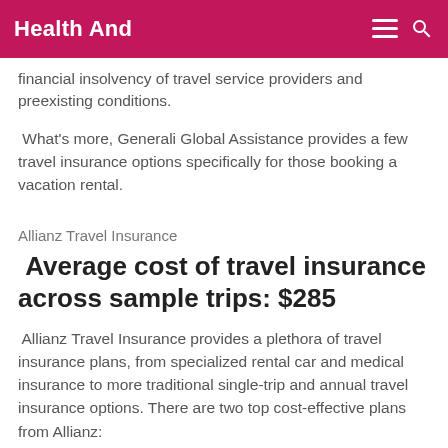Health And
financial insolvency of travel service providers and preexisting conditions.
What's more, Generali Global Assistance provides a few travel insurance options specifically for those booking a vacation rental.
Allianz Travel Insurance
Average cost of travel insurance across sample trips: $285
Allianz Travel Insurance provides a plethora of travel insurance plans, from specialized rental car and medical insurance to more traditional single-trip and annual travel insurance options. There are two top cost-effective plans from Allianz: